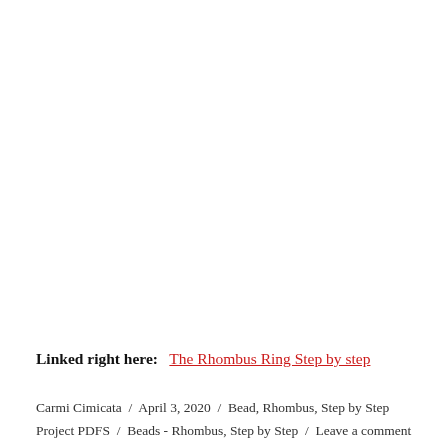Linked right here:   The Rhombus Ring Step by step
Carmi Cimicata / April 3, 2020 / Bead, Rhombus, Step by Step Project PDFS / Beads - Rhombus, Step by Step / Leave a comment